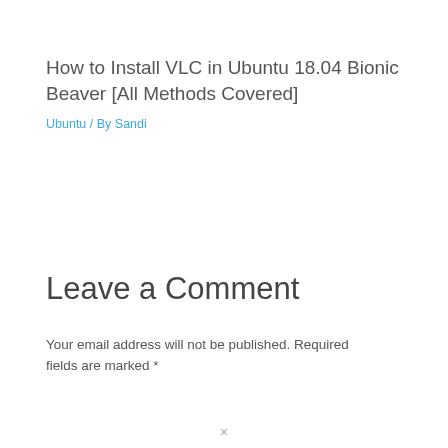How to Install VLC in Ubuntu 18.04 Bionic Beaver [All Methods Covered]
Ubuntu / By Sandi
Leave a Comment
Your email address will not be published. Required fields are marked *